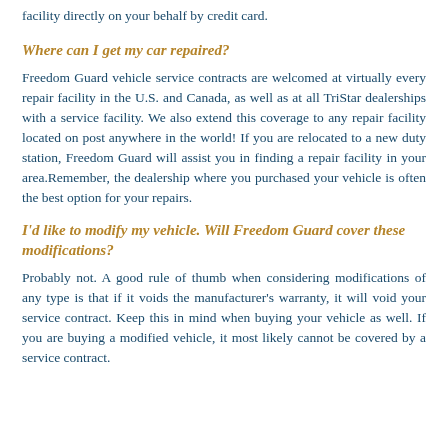facility directly on your behalf by credit card.
Where can I get my car repaired?
Freedom Guard vehicle service contracts are welcomed at virtually every repair facility in the U.S. and Canada, as well as at all TriStar dealerships with a service facility. We also extend this coverage to any repair facility located on post anywhere in the world! If you are relocated to a new duty station, Freedom Guard will assist you in finding a repair facility in your area.Remember, the dealership where you purchased your vehicle is often the best option for your repairs.
I'd like to modify my vehicle. Will Freedom Guard cover these modifications?
Probably not. A good rule of thumb when considering modifications of any type is that if it voids the manufacturer's warranty, it will void your service contract. Keep this in mind when buying your vehicle as well. If you are buying a modified vehicle, it most likely cannot be covered by a service contract.